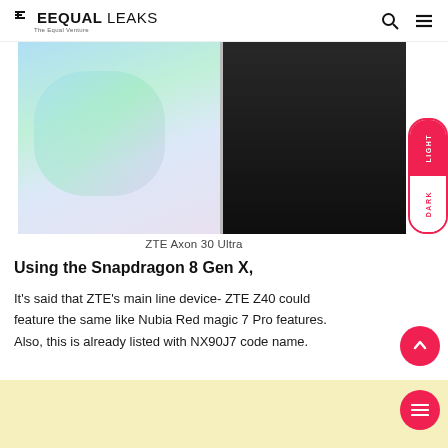EQUAL LEAKS — The Equal Venture
[Figure (photo): ZTE Axon 30 Ultra smartphone shown from two angles: left side with light-colored gradient screen, right side with dark/black back panel]
ZTE Axon 30 Ultra
Using the Snapdragon 8 Gen X,
It's said that ZTE's main line device- ZTE Z40 could feature the same like Nubia Red magic 7 Pro features. Also, this is already listed with NX90J7 code name.